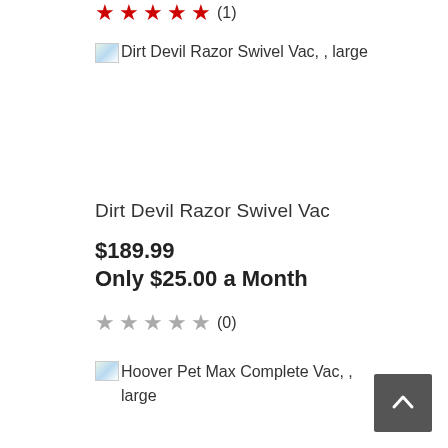★★★★★ (1)
[Figure (photo): Dirt Devil Razor Swivel Vac, large — broken/loading product image placeholder]
Dirt Devil Razor Swivel Vac
$189.99
Only $25.00 a Month
★★★★★ (0)
[Figure (photo): Hoover Pet Max Complete Vac, large — broken/loading product image placeholder]